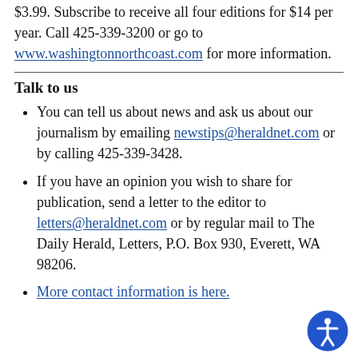$3.99. Subscribe to receive all four editions for $14 per year. Call 425-339-3200 or go to www.washingtonnorthcoast.com for more information.
Talk to us
You can tell us about news and ask us about our journalism by emailing newstips@heraldnet.com or by calling 425-339-3428.
If you have an opinion you wish to share for publication, send a letter to the editor to letters@heraldnet.com or by regular mail to The Daily Herald, Letters, P.O. Box 930, Everett, WA 98206.
More contact information is here.